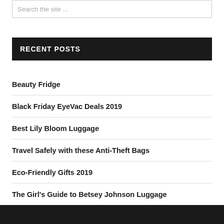Search the site ...
RECENT POSTS
Beauty Fridge
Black Friday EyeVac Deals 2019
Best Lily Bloom Luggage
Travel Safely with these Anti-Theft Bags
Eco-Friendly Gifts 2019
The Girl's Guide to Betsey Johnson Luggage